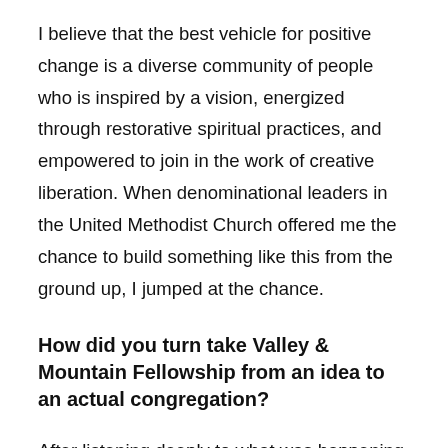I believe that the best vehicle for positive change is a diverse community of people who is inspired by a vision, energized through restorative spiritual practices, and empowered to join in the work of creative liberation. When denominational leaders in the United Methodist Church offered me the chance to build something like this from the ground up, I jumped at the chance.
How did you turn take Valley & Mountain Fellowship from an idea to an actual congregation?
After listening deeply to what was happening in my